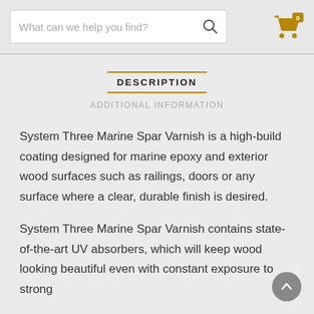What can we help you find?
DESCRIPTION
ADDITIONAL INFORMATION
System Three Marine Spar Varnish is a high-build coating designed for marine epoxy and exterior wood surfaces such as railings, doors or any surface where a clear, durable finish is desired.
System Three Marine Spar Varnish contains state-of-the-art UV absorbers, which will keep wood looking beautiful even with constant exposure to strong